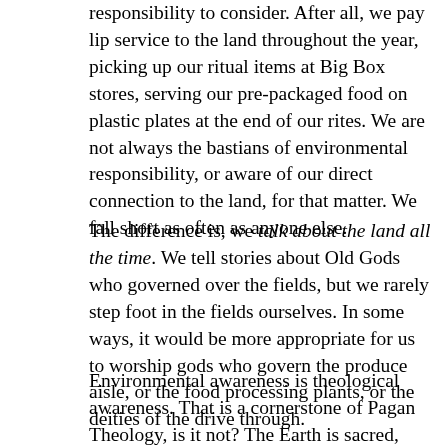responsibility to consider. After all, we pay lip service to the land throughout the year, picking up our ritual items at Big Box stores, serving our pre-packaged food on plastic plates at the end of our rites. We are not always the bastians of environmental responsibility, or aware of our direct connection to the land, for that matter. We fall short as often as anyone else.
The difference is, we talk about the land all the time. We tell stories about Old Gods who governed over the fields, but we rarely step foot in the fields ourselves. In some ways, it would be more appropriate for us to worship gods who govern the produce aisle, or the food processing plants, or the deities of the drive through.
Environmental awareness is theological awareness. That is a cornerstone of Pagan Theology, is it not? The Earth is sacred, alive, and sentient. There are unseen forces that influence and shape the physical